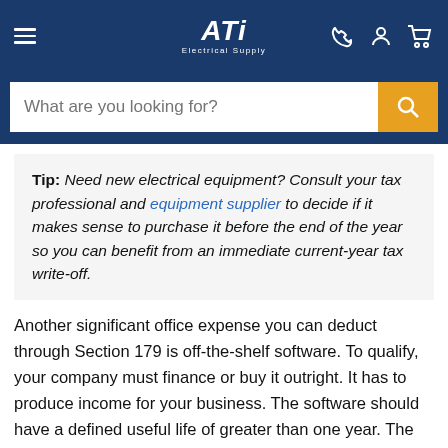ATi Electrical Supply — navigation header with hamburger menu, logo, and icons
Tip: Need new electrical equipment? Consult your tax professional and equipment supplier to decide if it makes sense to purchase it before the end of the year so you can benefit from an immediate current-year tax write-off.
Another significant office expense you can deduct through Section 179 is off-the-shelf software. To qualify, your company must finance or buy it outright. It has to produce income for your business. The software should have a defined useful life of greater than one year. The license for it can't be exclusive to your company or significantly modified or customized for your firm.
If your business leases equipment rather than buying it, you can